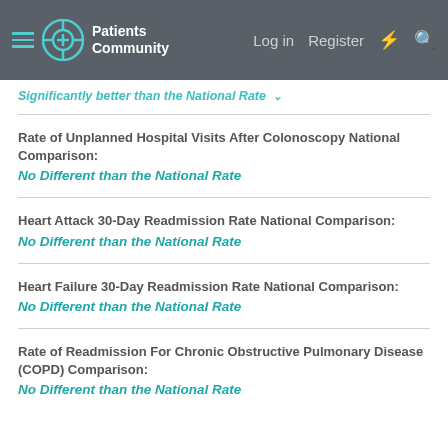Patients Community | Log in | Register
Significantly better than the National Rate
Rate of Unplanned Hospital Visits After Colonoscopy National Comparison:
No Different than the National Rate
Heart Attack 30-Day Readmission Rate National Comparison:
No Different than the National Rate
Heart Failure 30-Day Readmission Rate National Comparison:
No Different than the National Rate
Rate of Readmission For Chronic Obstructive Pulmonary Disease (COPD) Comparison:
No Different than the National Rate